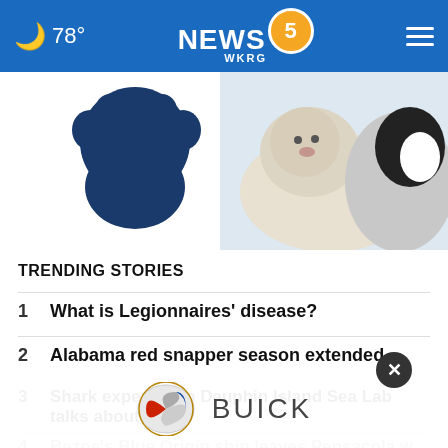NEWS 5 WKRG — 78°
[Figure (photo): Hero image of two puppies with a dark blue paw print logo on a white/light background. One puppy is white/cream, the other is black and white.]
TRENDING STORIES
1 What is Legionnaires' disease?
2 Alabama red snapper season extended
3 Shark expert from Dauphin Island Sea Lab talks about …
4 Bezos's Blue Origin ship leaves Pensacola w…
[Figure (logo): Buick logo (tricolor shield emblem) with the text BUICK in grey letters — advertisement overlay at the bottom of the page.]